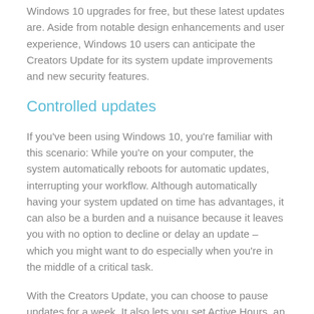Windows 10 upgrades for free, but these latest updates are. Aside from notable design enhancements and user experience, Windows 10 users can anticipate the Creators Update for its system update improvements and new security features.
Controlled updates
If you've been using Windows 10, you're familiar with this scenario: While you're on your computer, the system automatically reboots for automatic updates, interrupting your workflow. Although automatically having your system updated on time has advantages, it can also be a burden and a nuisance because it leaves you with no option to decline or delay an update – which you might want to do especially when you're in the middle of a critical task.
With the Creators Update, you can choose to pause updates for a week. It also lets you set Active Hours, an 18-hour window when Windows won't install updates. It's a minor enhancement that should be a welcome feature to users who like having better control over their system